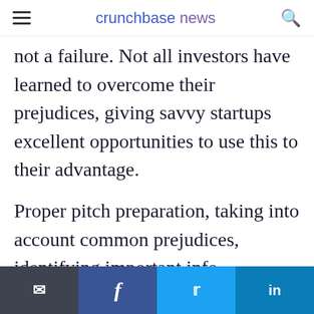crunchbase news
not a failure. Not all investors have learned to overcome their prejudices, giving savvy startups excellent opportunities to use this to their advantage.
Proper pitch preparation, taking into account common prejudices, identifying important info, preparing counterarguments and contacting special-focused funds all increases the chances of receiving funding.
Email | Facebook | Twitter | LinkedIn